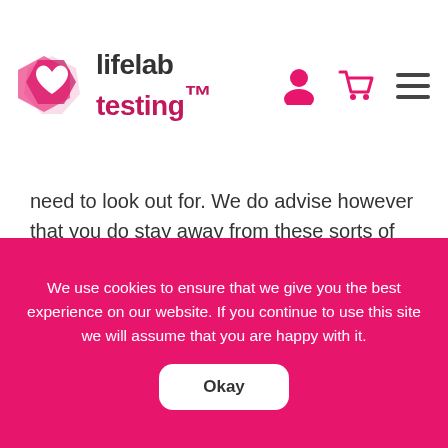[Figure (logo): Lifelab Testing logo with pink heart/hexagon icon and text 'lifelab testing']
need to look out for. We do advise however that you do stay away from these sorts of things and take precautions to stop your hay fever.
3) Rain cannot clear pollen
This isn't a complete myth like before. The logic makes sense... Rain will temporarily clear pollen from the air, but it always comes back. After the
We use cookies to ensure that we give you the best experience on our website. If you continue to use this site we will assume that you are happy with it.